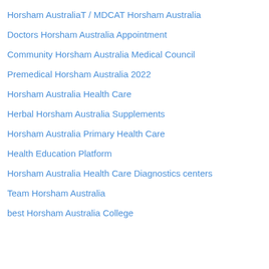Horsham AustraliaT / MDCAT Horsham Australia
Doctors Horsham Australia Appointment
Community Horsham Australia Medical Council
Premedical Horsham Australia 2022
Horsham Australia Health Care
Herbal Horsham Australia Supplements
Horsham Australia Primary Health Care
Health Education Platform
Horsham Australia Health Care Diagnostics centers
Team Horsham Australia
best Horsham Australia College